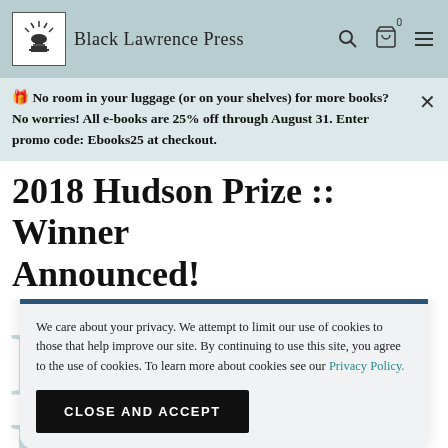Black Lawrence Press
🎁 No room in your luggage (or on your shelves) for more books? No worries! All e-books are 25% off through August 31. Enter promo code: Ebooks25 at checkout.
2018 Hudson Prize :: Winner Announced!
We care about your privacy. We attempt to limit our use of cookies to those that help improve our site. By continuing to use this site, you agree to the use of cookies. To learn more about cookies see our Privacy Policy.
CLOSE AND ACCEPT